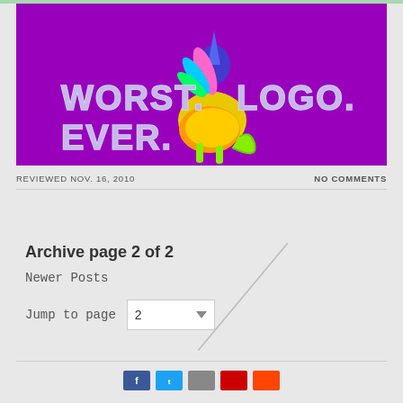[Figure (logo): Purple background banner with rainbow unicorn-kangaroo logo and stylized text reading 'WORST. LOGO. EVER.' in chrome/metallic lettering]
REVIEWED NOV. 16, 2010
NO COMMENTS
Archive page 2 of 2
Newer Posts
Jump to page  2
[Figure (other): Row of social media share button icons at the bottom of the page]